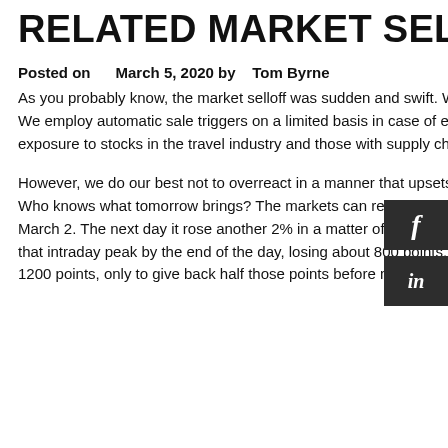RELATED MARKET SELL-OFF
Posted on   March 5, 2020 by   Tom Byrne
As you probably know, the market selloff was sudden and swift. We managed the downside reasonably well. We employ automatic sale triggers on a limited basis in case of events like this. In particular, we trimmed our exposure to stocks in the travel industry and those with supply chain risk.
However, we do our best not to overreact in a manner that upsets or violates long-term investment strategies. Who knows what tomorrow brings? The markets can recover quickly. The Dow was up over 1000 points on March 2. The next day it rose another 2% in a matter of seconds as the Fed cut rates. But then it fell 5% from that intraday peak by the end of the day, losing about 800 points.  Yesterday the Dow surged upward almost 1200 points, only to give back half those points before noon today, as I write.  No one can react that quickly or